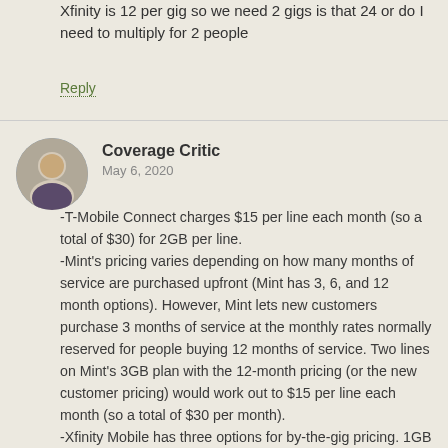Xfinity is 12 per gig so we need 2 gigs is that 24 or do I need to multiply for 2 people
Reply
Coverage Critic
May 6, 2020
-T-Mobile Connect charges $15 per line each month (so a total of $30) for 2GB per line. -Mint's pricing varies depending on how many months of service are purchased upfront (Mint has 3, 6, and 12 month options). However, Mint lets new customers purchase 3 months of service at the monthly rates normally reserved for people buying 12 months of service. Two lines on Mint's 3GB plan with the 12-month pricing (or the new customer pricing) would work out to $15 per line each month (so a total of $30 per month). -Xfinity Mobile has three options for by-the-gig pricing. 1GB of shared data for $12, 3GB for $30, or 10GB for $60. If you wanted 1GB of data total, you could have 2 lines for $12 ($6 each). Alternatively, you could have 2 lines share 3GB for $30 ($15 per line).